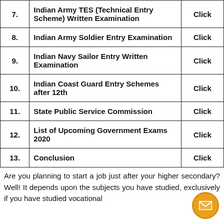| # | Examination Name | Link |
| --- | --- | --- |
| 7. | Indian Army TES (Technical Entry Scheme) Written Examination | Click |
| 8. | Indian Army Soldier Entry Examination | Click |
| 9. | Indian Navy Sailor Entry Written Examination | Click |
| 10. | Indian Coast Guard Entry Schemes after 12th | Click |
| 11. | State Public Service Commission | Click |
| 12. | List of Upcoming Government Exams 2020 | Click |
| 13. | Conclusion | Click |
Are you planning to start a job just after your higher secondary? Well! It depends upon the subjects you have studied, exclusively if you have studied vocational